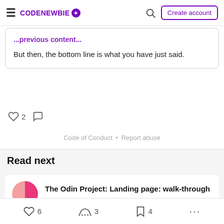CodeNewbie — Create account
But then, the bottom line is what you have just said.
♡ 2  ○
Code of Conduct • Report abuse
Read next
The Odin Project: Landing page: walk-through
sheriffderek - Oct 7 '21
♡ 6   3   4   ...